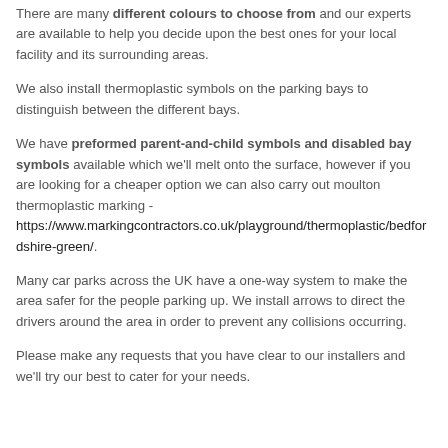There are many different colours to choose from and our experts are available to help you decide upon the best ones for your local facility and its surrounding areas.
We also install thermoplastic symbols on the parking bays to distinguish between the different bays.
We have preformed parent-and-child symbols and disabled bay symbols available which we'll melt onto the surface, however if you are looking for a cheaper option we can also carry out moulton thermoplastic marking - https://www.markingcontractors.co.uk/playground/thermoplastic/bedfordshire-green/.
Many car parks across the UK have a one-way system to make the area safer for the people parking up. We install arrows to direct the drivers around the area in order to prevent any collisions occurring.
Please make any requests that you have clear to our installers and we'll try our best to cater for your needs.